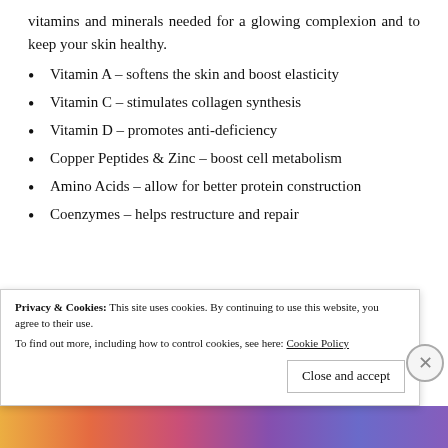vitamins and minerals needed for a glowing complexion and to keep your skin healthy.
Vitamin A – softens the skin and boost elasticity
Vitamin C – stimulates collagen synthesis
Vitamin D – promotes anti-deficiency
Copper Peptides & Zinc – boost cell metabolism
Amino Acids – allow for better protein construction
Coenzymes – helps restructure and repair
Privacy & Cookies: This site uses cookies. By continuing to use this website, you agree to their use.
To find out more, including how to control cookies, see here: Cookie Policy
Close and accept